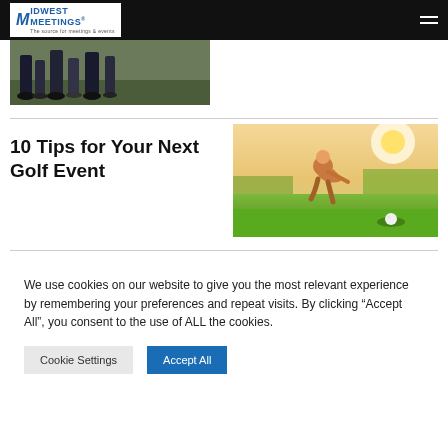Midwest Meetings
[Figure (photo): Group of people walking outdoors, partial view from waist down showing legs and feet]
10 Tips for Your Next Golf Event
[Figure (photo): Golfer crouching on a green sunny golf course with a golf ball near the hole]
We use cookies on our website to give you the most relevant experience by remembering your preferences and repeat visits. By clicking “Accept All”, you consent to the use of ALL the cookies.
Cookie Settings
Accept All